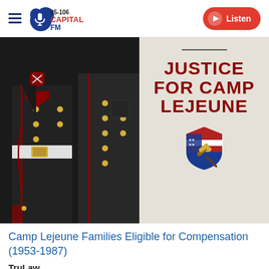95-106 Capital FM | Listen
[Figure (photo): Left half: close-up photo of US Marine in dress uniform with corporal chevron patch and gold buttons. Right half: graphic with text 'JUSTICE FOR CAMP LEJEUNE' in bold dark red on light background with a shield icon featuring American flag and gavel.]
Camp Lejeune Families Eligible for Compensation (1953-1987)
TruLaw